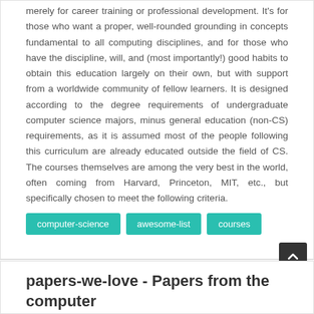merely for career training or professional development. It's for those who want a proper, well-rounded grounding in concepts fundamental to all computing disciplines, and for those who have the discipline, will, and (most importantly!) good habits to obtain this education largely on their own, but with support from a worldwide community of fellow learners. It is designed according to the degree requirements of undergraduate computer science majors, minus general education (non-CS) requirements, as it is assumed most of the people following this curriculum are already educated outside the field of CS. The courses themselves are among the very best in the world, often coming from Harvard, Princeton, MIT, etc., but specifically chosen to meet the following criteria.
computer-science
awesome-list
courses
papers-we-love - Papers from the computer